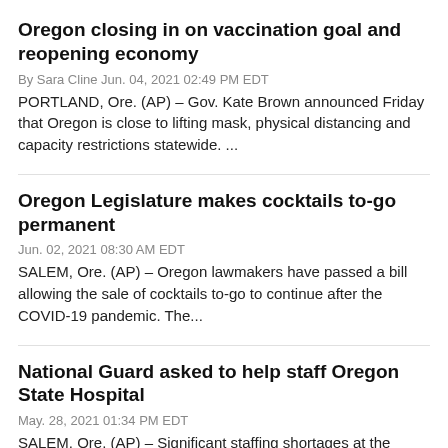Oregon closing in on vaccination goal and reopening economy
By Sara Cline Jun. 04, 2021 02:49 PM EDT
PORTLAND, Ore. (AP) – Gov. Kate Brown announced Friday that Oregon is close to lifting mask, physical distancing and capacity restrictions statewide. ...
Oregon Legislature makes cocktails to-go permanent
Jun. 02, 2021 08:30 AM EDT
SALEM, Ore. (AP) – Oregon lawmakers have passed a bill allowing the sale of cocktails to-go to continue after the COVID-19 pandemic. The...
National Guard asked to help staff Oregon State Hospital
May. 28, 2021 01:34 PM EDT
SALEM, Ore. (AP) – Significant staffing shortages at the Oregon State